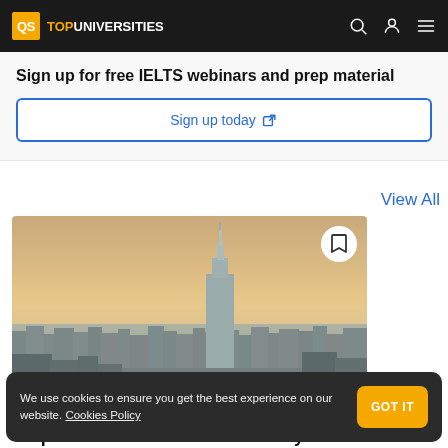QS TOP UNIVERSITIES
Sign up for free IELTS webinars and prep material
Sign up today
View All
[Figure (photo): Aerial cityscape photo of New York City skyline with the Empire State Building prominent in the background, taken at dusk with warm golden tones.]
Top Universities in New York City
We use cookies to ensure you get the best experience on our website. Cookies Policy